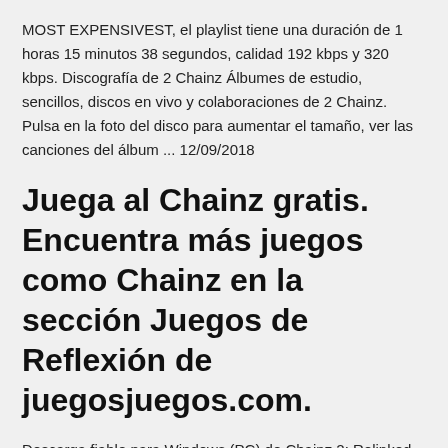MOST EXPENSIVEST, el playlist tiene una duración de 1 horas 15 minutos 38 segundos, calidad 192 kbps y 320 kbps. Discografía de 2 Chainz Álbumes de estudio, sencillos, discos en vivo y colaboraciones de 2 Chainz. Pulsa en la foto del disco para aumentar el tamaño, ver las canciones del álbum ... 12/09/2018
Juega al Chainz gratis. Encuentra más juegos como Chainz en la sección Juegos de Reflexión de juegosjuegos.com.
Descarga fiable para Windows (PC) de Chainz 2: Relinked GRATIS. Descarga libre de virus y 100 % limpia. Consigue Chainz 2: Relinked descargas alternativas. 7-Zip es un programa de código abierto para comprimir y descomprimir archivos. Destaca